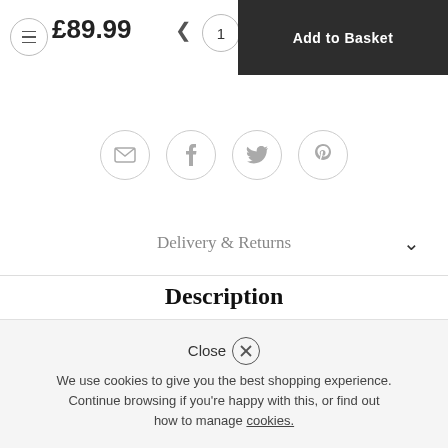£89.99  <  1  Atla[ntis]  SHOPPING  Add to Basket
[Figure (screenshot): Social sharing icons row: email, facebook, twitter, pinterest — circular outline buttons]
Delivery & Returns
Description
The Maze Bar Stool Brown is a bold design with prominent square shapes stitched into the faux leather. Delivering state-of-the-art style straight to your bar area, the Maze also ensures optimum
Close  We use cookies to give you the best shopping experience. Continue browsing if you're happy with this, or find out how to manage cookies.